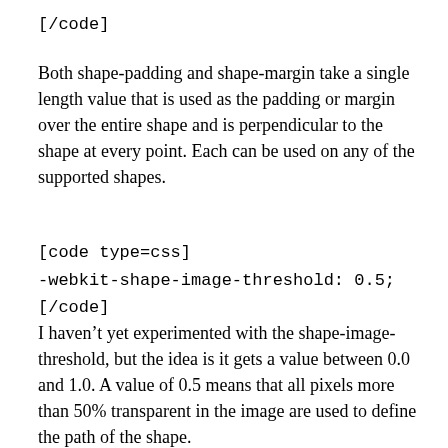[/code]
Both shape-padding and shape-margin take a single length value that is used as the padding or margin over the entire shape and is perpendicular to the shape at every point. Each can be used on any of the supported shapes.
[code type=css]
-webkit-shape-image-threshold: 0.5;
[/code]
I haven't yet experimented with the shape-image-threshold, but the idea is it gets a value between 0.0 and 1.0. A value of 0.5 means that all pixels more than 50% transparent in the image are used to define the path of the shape.